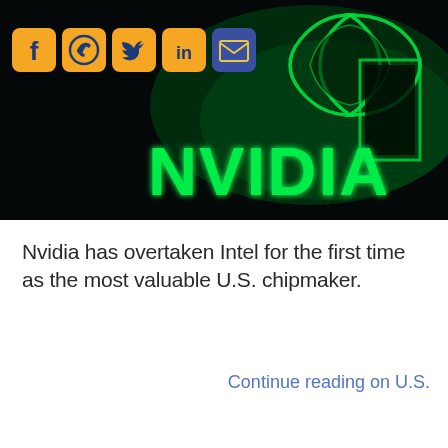[Figure (photo): NVIDIA illuminated logo sign with green glowing letters and logo on dark/black background. Social media share icons (Facebook, WhatsApp, Twitter, LinkedIn, Email) overlaid in top-left corner.]
Nvidia has overtaken Intel for the first time as the most valuable U.S. chipmaker.
Continue reading on U.S.